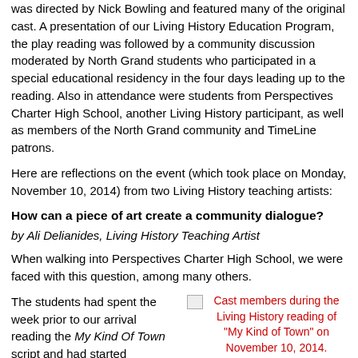was directed by Nick Bowling and featured many of the original cast. A presentation of our Living History Education Program, the play reading was followed by a community discussion moderated by North Grand students who participated in a special educational residency in the four days leading up to the reading. Also in attendance were students from Perspectives Charter High School, another Living History participant, as well as members of the North Grand community and TimeLine patrons.
Here are reflections on the event (which took place on Monday, November 10, 2014) from two Living History teaching artists:
How can a piece of art create a community dialogue?
by Ali Delianides, Living History Teaching Artist
When walking into Perspectives Charter High School, we were faced with this question, among many others.
The students had spent the week prior to our arrival reading the My Kind Of Town script and had started
[Figure (photo): Cast members during the Living History reading of "My Kind of Town" on November 10, 2014. Image shown as broken/placeholder image with red caption text.]